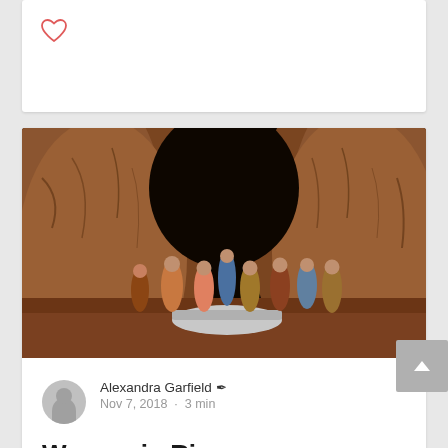[Figure (other): Heart/like icon outline in red/coral color on white card background]
[Figure (photo): Theater production photo of 'Men on Boats' showing cast of actors in period costumes standing on a stage set designed to look like rocky canyon walls, with a small boat prop. Dark background with brownish-orange rock formations.]
Alexandra Garfield ✒ Nov 7, 2018 · 3 min
Women in Rivers
Men on Boats, now playing at A.C.T.'s Strand Theater, has the unusual distinction of providin...